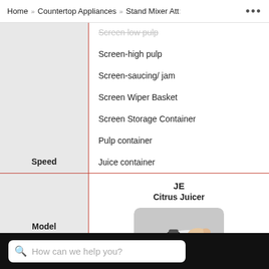Home » Countertop Appliances » Stand Mixer Att: ...
|  |  |
| --- | --- |
|  | Screen-low pulp
Screen-high pulp
Screen-saucing/ jam
Screen Wiper Basket
Screen Storage Container
Pulp container
Juice container |
| Speed |  |
| Model | JE Citrus Juicer [image] |
How can we help you?